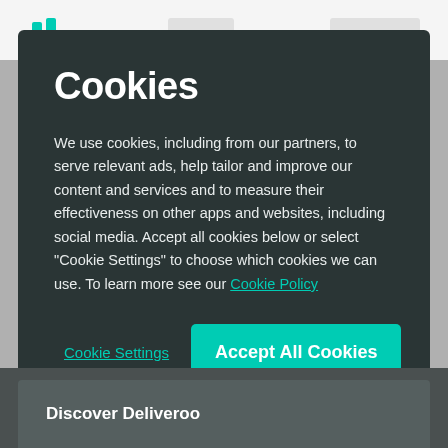[Figure (logo): Deliveroo teal logo icon in top-left of navigation bar]
Cookies
We use cookies, including from our partners, to serve relevant ads, help tailor and improve our content and services and to measure their effectiveness on other apps and websites, including social media. Accept all cookies below or select “Cookie Settings” to choose which cookies we can use. To learn more see our Cookie Policy
Cookie Settings
Accept All Cookies
Discover Deliveroo